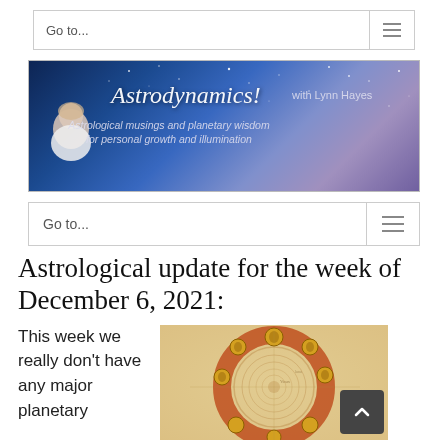Go to...
[Figure (illustration): Astrodynamics! with Lynn Hayes banner — dark blue starry sky background fading to purple, with a woman in white on the left, decorative italic title text 'Astrodynamics! with Lynn Hayes' and subtitle 'Astrological musings and planetary wisdom for personal growth and illumination']
Go to...
Astrological update for the week of December 6, 2021:
This week we really don't have any major planetary
[Figure (illustration): An ancient medieval illuminated manuscript illustration of a geocentric cosmological diagram — concentric circles with planetary spheres, decorated with gold medallion faces, on a parchment background with red and gold borders]